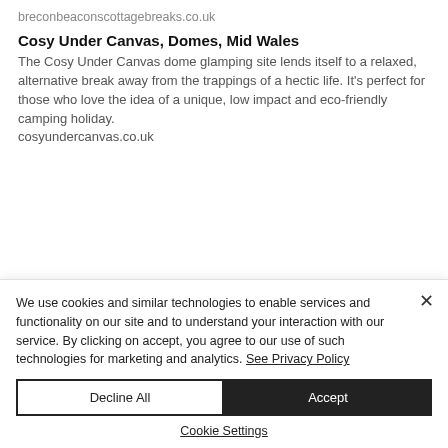breconbeaconscottagebreaks.co.uk
Cosy Under Canvas, Domes, Mid Wales
The Cosy Under Canvas dome glamping site lends itself to a relaxed, alternative break away from the trappings of a hectic life. It's perfect for those who love the idea of a unique, low impact and eco-friendly camping holiday. cosyundercanvas.co.uk
We use cookies and similar technologies to enable services and functionality on our site and to understand your interaction with our service. By clicking on accept, you agree to our use of such technologies for marketing and analytics. See Privacy Policy
Decline All
Accept
Cookie Settings